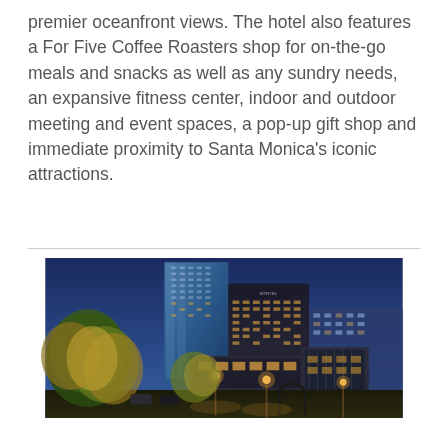premier oceanfront views. The hotel also features a For Five Coffee Roasters shop for on-the-go meals and snacks as well as any sundry needs, an expansive fitness center, indoor and outdoor meeting and event spaces, a pop-up gift shop and immediate proximity to Santa Monica's iconic attractions.
[Figure (photo): Nighttime cityscape photo showing Sofitel hotel building (dark glass tower with Sofitel logo) alongside a taller glass skyscraper, illuminated street lamps, autumn trees with golden foliage, and other urban buildings under a deep blue evening sky.]